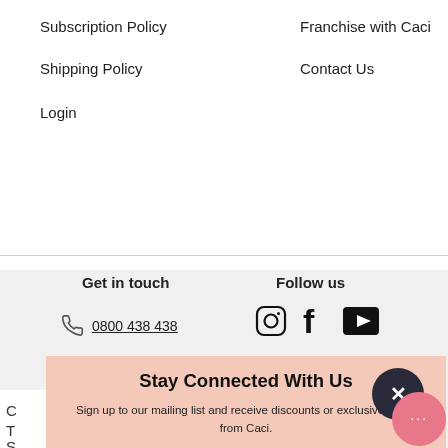Subscription Policy
Franchise with Caci
Shipping Policy
Contact Us
Login
Get in touch
Follow us
0800 438 438
[Figure (infographic): Social media icons: Instagram, Facebook, YouTube]
Stay Connected With Us
Sign up to our mailing list and receive discounts or exclusive offers from Caci.
Enter your email